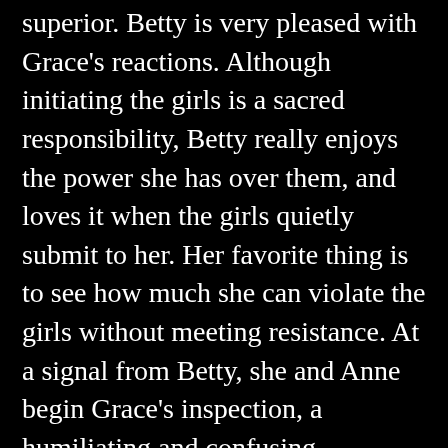superior. Betty is very pleased with Grace's reactions. Although initiating the girls is a sacred responsibility, Betty really enjoys the power she has over them, and loves it when the girls quietly submit to her. Her favorite thing is to see how much she can violate the girls without meeting resistance. At a signal from Betty, she and Anne begin Grace's inspection, a humiliating and confusing experience for any virgin polygamy girl. The two examine Grace's body thoroughly. Betty smoothes her hands over the girl's creamy thighs and examines her ass and pussy, spreading her lips to take a close look at her tight hole. Grace does exactly as she's told, even degrading herself by pleasing both women with her hands and with her mouth. And as she licks their pussies, she's ashamed to find out how much she enjoys it. She imagines that the humiliation will be over soon, but she's wrong. She feels something hard and cold pressed against her pussy, and she looks back to find the High Priestess rubbing her hole with a long stone instrument. Before she can ask what it is, the High Priestess has